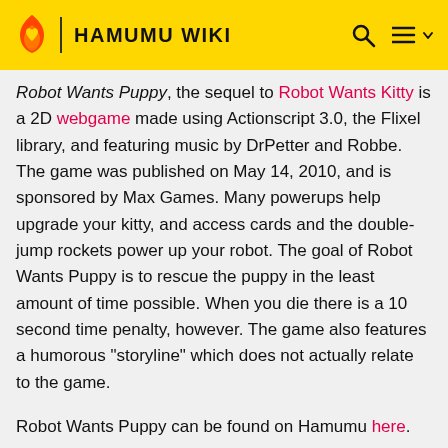HAMUMU WIKI
Robot Wants Puppy, the sequel to Robot Wants Kitty is a 2D webgame made using Actionscript 3.0, the Flixel library, and featuring music by DrPetter and Robbe. The game was published on May 14, 2010, and is sponsored by Max Games. Many powerups help upgrade your kitty, and access cards and the double-jump rockets power up your robot. The goal of Robot Wants Puppy is to rescue the puppy in the least amount of time possible. When you die there is a 10 second time penalty, however. The game also features a humorous "storyline" which does not actually relate to the game.
Robot Wants Puppy can be found on Hamumu here.